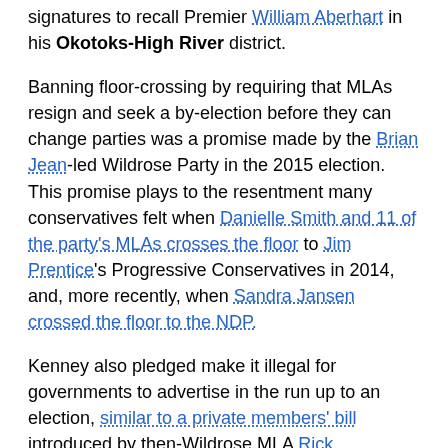signatures to recall Premier William Aberhart in his Okotoks-High River district.
Banning floor-crossing by requiring that MLAs resign and seek a by-election before they can change parties was a promise made by the Brian Jean-led Wildrose Party in the 2015 election. This promise plays to the resentment many conservatives felt when Danielle Smith and 11 of the party's MLAs crosses the floor to Jim Prentice's Progressive Conservatives in 2014, and, more recently, when Sandra Jansen crossed the floor to the NDP.
Kenney also pledged make it illegal for governments to advertise in the run up to an election, similar to a private members' bill introduced by then-Wildrose MLA Rick Strankman in 2015.
The UCP would also reinstate the Alberta Senatorial Selection Act, with a pledge to hold Senate Nominee